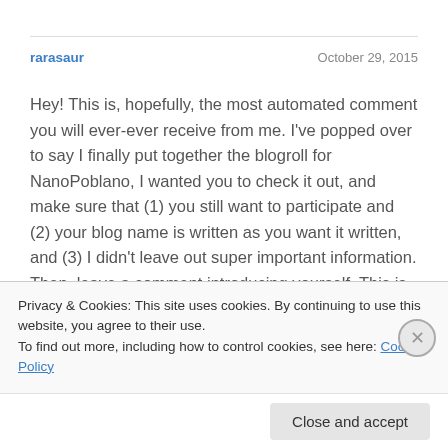rarasaur
October 29, 2015
Hey! This is, hopefully, the most automated comment you will ever-ever receive from me. I've popped over to say I finally put together the blogroll for NanoPoblano, I wanted you to check it out, and make sure that (1) you still want to participate and (2) your blog name is written as you want it written, and (3) I didn't leave out super important information. Then, leave a comment introducing yourself. This is the page I'll be directing people to through the month, so I'm hoping they'll see your comment and be excited to go check you out. It should say something like, "Hey, Cheer Peppers– I'm
Privacy & Cookies: This site uses cookies. By continuing to use this website, you agree to their use.
To find out more, including how to control cookies, see here: Cookie Policy
Close and accept